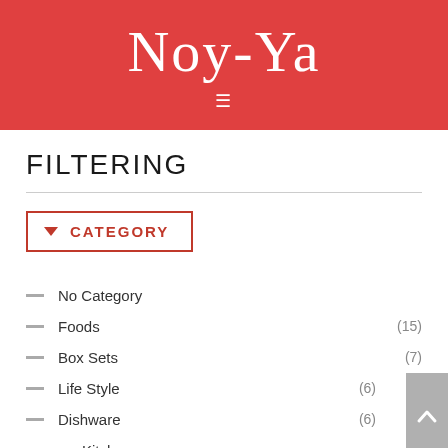[Figure (logo): Noy-Ya website header with red background, script logo text 'Noy-Ya' in white, and hamburger menu icon below]
FILTERING
No Category
Foods (15)
Box Sets (7)
Life Style (6)
Dishware (6)
Kitchenware (6)